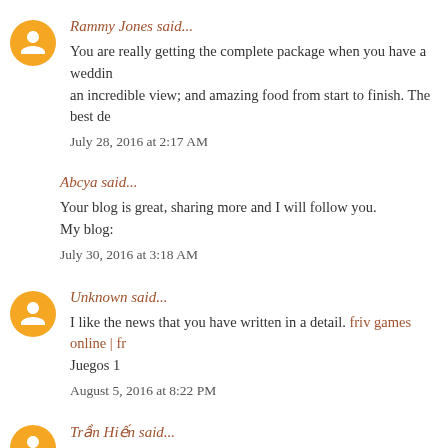Rammy Jones said...
You are really getting the complete package when you have a wedding... an incredible view; and amazing food from start to finish. The best de...
July 28, 2016 at 2:17 AM
Abcya said...
Your blog is great, sharing more and I will follow you.
My blog:
July 30, 2016 at 3:18 AM
Unknown said...
I like the news that you have written in a detail. friv games online | fr... Juegos 1
August 5, 2016 at 8:22 PM
Trần Hiến said...
You can receive or send emails to friends and colleagues as well as...